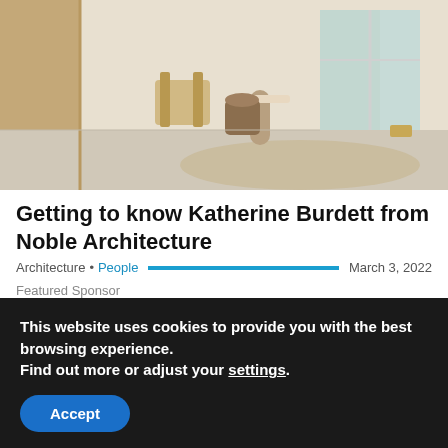[Figure (photo): Interior room photo showing a bright hallway or room with wooden chair, tree stump side table, white walls, large windows, and a woven rug]
Getting to know Katherine Burdett from Noble Architecture
Architecture • People   March 3, 2022
Featured Sponsor
[Figure (photo): Portrait photo of a smiling blonde woman standing in front of artwork/paintings on a wall]
This website uses cookies to provide you with the best browsing experience.
Find out more or adjust your settings.
Accept